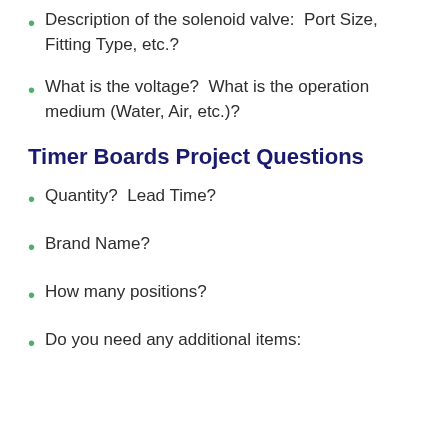Description of the solenoid valve:  Port Size, Fitting Type, etc.?
What is the voltage?  What is the operation medium (Water, Air, etc.)?
Timer Boards Project Questions
Quantity?  Lead Time?
Brand Name?
How many positions?
Do you need any additional items: